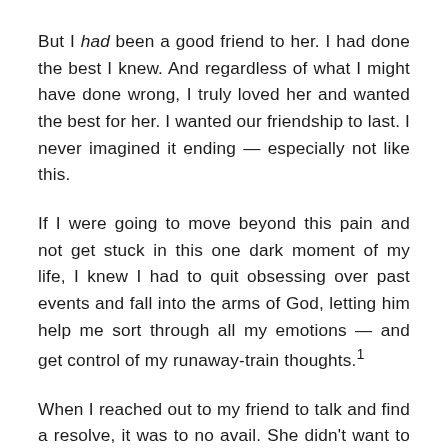But I had been a good friend to her. I had done the best I knew. And regardless of what I might have done wrong, I truly loved her and wanted the best for her. I wanted our friendship to last. I never imagined it ending — especially not like this.
If I were going to move beyond this pain and not get stuck in this one dark moment of my life, I knew I had to quit obsessing over past events and fall into the arms of God, letting him help me sort through all my emotions — and get control of my runaway-train thoughts.1
When I reached out to my friend to talk and find a resolve, it was to no avail. She didn't want to talk it